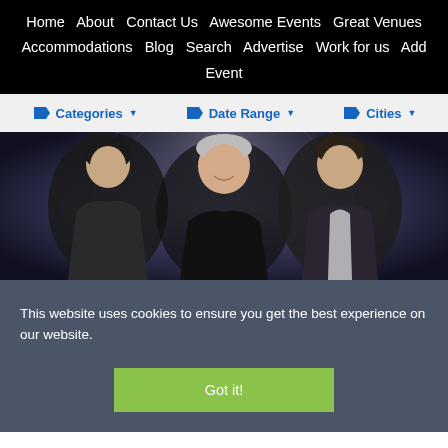Home  About  Contact Us  Awesome Events  Great Venues  Accommodations  Blog  Search  Advertise  Work for us  Add Event
Categories ▼
Date Range ▼
Cities ▼
[Figure (photo): Three people posed together: a woman on the left in dark clothing, an older man in the center wearing a black t-shirt smiling, and a younger man on the right in a suit jacket, against a dark circular background]
This website uses cookies to ensure you get the best experience on our website.
Got it!